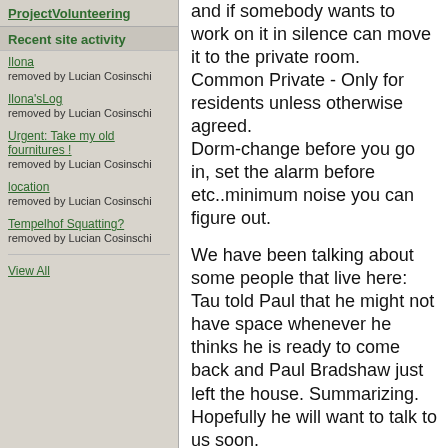ProjectVolunteering
Recent site activity
Ilona
removed by Lucian Cosinschi
Ilona'sLog
removed by Lucian Cosinschi
Urgent: Take my old fournitures !
removed by Lucian Cosinschi
location
removed by Lucian Cosinschi
Tempelhof Squatting?
removed by Lucian Cosinschi
View All
and if somebody wants to work on it in silence can move it to the private room.
Common Private - Only for residents unless otherwise agreed.
Dorm-change before you go in, set the alarm before etc..minimum noise you can figure out.
We have been talking about some people that live here:
Tau told Paul that he might not have space whenever he thinks he is ready to come back and Paul Bradshaw just left the house. Summarizing.
Hopefully he will want to talk to us soon.
Valeria has to leave tomorrow, has been agreed with everybody.
We talk about some people, guests etc in the house who have been not very communicative or sharing.
More communication would help for making sure guests know what this is